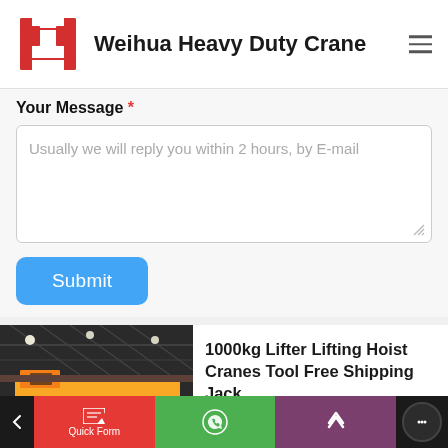[Figure (logo): Weihua Heavy Duty Crane logo — red bracket/frame icon with company name]
Weihua Heavy Duty Crane
Your Message *
Usually we will reply you within 2 hours, by E-mail
Submit
[Figure (photo): Industrial crane in a factory/warehouse setting, yellow overhead bridge crane]
1000kg Lifter Lifting Hoist Cranes Tool Free Shipping Jack ...
[Figure (screenshot): Bottom navigation bar with Quick Form (red), WhatsApp (green), scroll up (purple), and chat bubble (dark)]